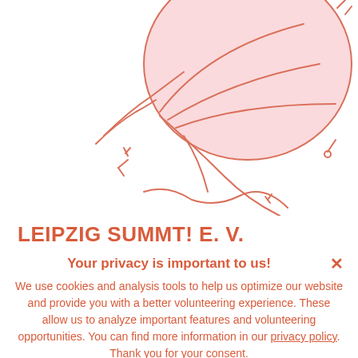[Figure (illustration): Decorative botanical/leaf illustration in salmon/coral outline style, partially cropped at top of page]
LEIPZIG SUMMT! E. V.
Your privacy is important to us!
We use cookies and analysis tools to help us optimize our website and provide you with a better volunteering experience. These allow us to analyze important features and volunteering opportunities. You can find more information in our privacy policy. Thank you for your consent.
OK, I AGREE